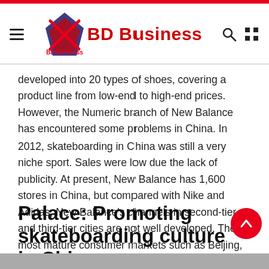BD Business
developed into 20 types of shoes, covering a product line from low-end to high-end prices. However, the Numeric branch of New Balance has encountered some problems in China. In 2012, skateboarding in China was still a very niche sport. Sales were low due the lack of publicity. At present, New Balance has 1,600 stores in China, but compared with Nike and Adidas, New Balance's channels in second-tier and third-tier cities are not well developed. The most mature consumer markets such as Beijing, Shanghai, Guangzhou, Shenzhen, and Chengdu are still the cities with the most New Balance stores.
Palace: Promoting skateboarding culture in China